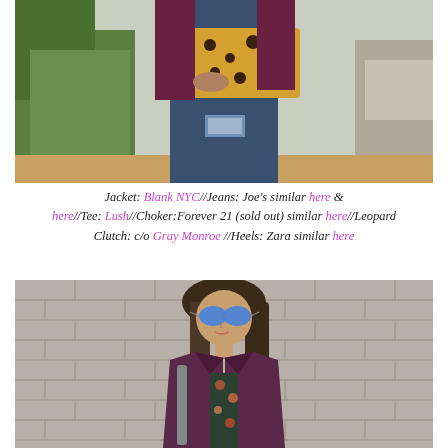[Figure (photo): Close-up photo of a person from waist down wearing ripped jeans and holding a leopard print clutch, with a burgundy/maroon jacket visible. Green foliage in background.]
Jacket: Blank NYC//Jeans: Joe's similar here & here//Tee: Lush//Choker:Forever 21 (sold out) similar here//Leopard Clutch: c/o Gray Monroe //Heels: Zara similar here
[Figure (photo): Photo of a woman wearing a purple/burgundy suede moto jacket over a dark floral top, with blue mirrored aviator sunglasses and shoulder-length brown hair, standing in front of a stone brick wall.]